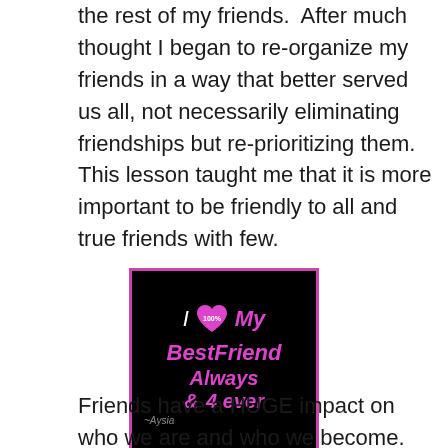the rest of my friends.  After much thought I began to re-organize my friends in a way that better served us all, not necessarily eliminating friendships but re-prioritizing them.  This lesson taught me that it is more important to be friendly to all and true friends with few.
[Figure (illustration): Black square image with pink border containing pink text: 'I [heart with 100% written inside] My BestFriend Always & 4 ever' with a small signature at the bottom left]
Friends have a HUGE impact on who we are and who we become. Simply put, the